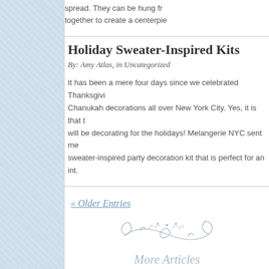spread. They can be hung from... together to create a centerpie...
Holiday Sweater-Inspired Kits
By: Amy Atlas, in Uncategorized
It has been a mere four days since we celebrated Thanksgiving... Chanukah decorations all over New York City. Yes, it is that time... will be decorating for the holidays! Melangerie NYC sent me... sweater-inspired party decoration kit that is perfect for an int...
« Older Entries
[Figure (illustration): Decorative flourish / ornament divider in light blue]
More Articles